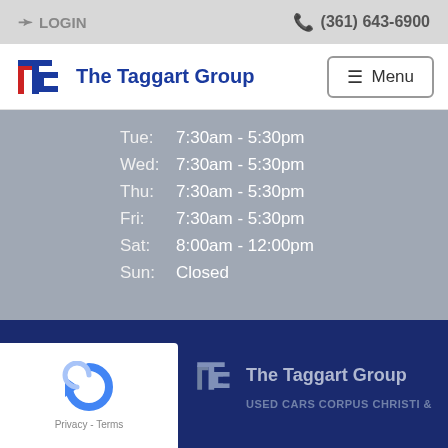LOGIN  (361) 643-6900
[Figure (logo): The Taggart Group logo with stylized TG emblem and navigation menu button]
Tue:  7:30am - 5:30pm
Wed: 7:30am - 5:30pm
Thu:  7:30am - 5:30pm
Fri:   7:30am - 5:30pm
Sat:  8:00am - 12:00pm
Sun: Closed
[Figure (logo): The Taggart Group footer logo with reCAPTCHA badge and tagline USED CARS CORPUS CHRISTI &]